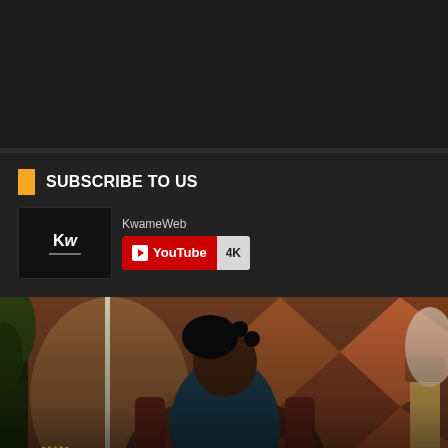[Figure (other): Dark top bar / advertisement area]
SUBSCRIBE TO US
[Figure (logo): KwameWeb YouTube channel subscription widget showing KW logo, channel name 'KwameWeb', YouTube subscribe button, and 4K subscriber count badge]
[Figure (photo): Photo of Amerado, a Ghanaian rapper, sitting in a brown leather chair in a blue suit with locs hairstyle, against a diamond-pattern wall background with plants and decor]
June 13, 2022
Amerado shares another unparalleled creativity with "Counsellor" – WATCH